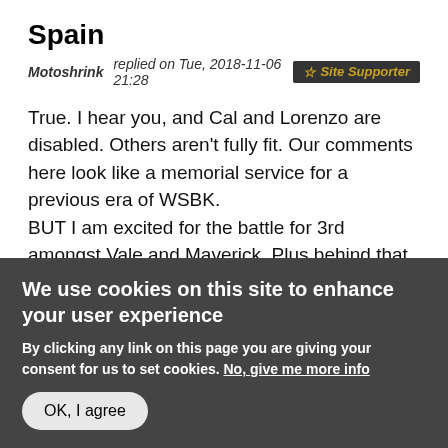Spain
Motoshrink replied on Tue, 2018-11-06 21:28 ☆ Site Supporter
True. I hear you, and Cal and Lorenzo are disabled. Others aren't fully fit. Our comments here look like a memorial service for a previous era of WSBK.
BUT I am excited for the battle for 3rd amongst Vale and Maverick. Plus behind that, Zarco/Rins/maybe Petrucci (sorry Cal's ankle!). Top rookie, I love seeing Pescau rising. Such a good guy.
We use cookies on this site to enhance your user experience
By clicking any link on this page you are giving your consent for us to set cookies. No, give me more info
OK, I agree